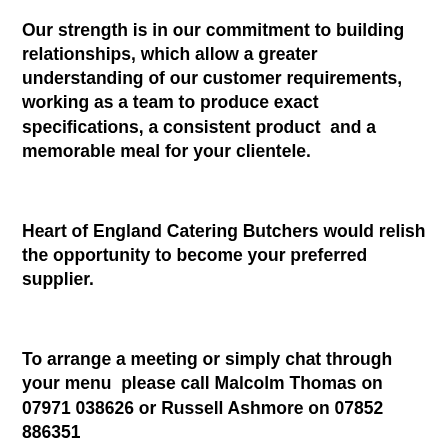Our strength is in our commitment to building relationships, which allow a greater understanding of our customer requirements, working as a team to produce exact specifications, a consistent product  and a memorable meal for your clientele.
Heart of England Catering Butchers would relish the opportunity to become your preferred supplier.
To arrange a meeting or simply chat through your menu  please call Malcolm Thomas on 07971 038626 or Russell Ashmore on 07852 886351